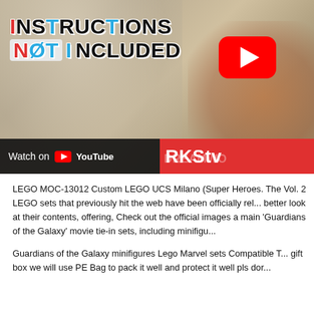[Figure (screenshot): YouTube video thumbnail for 'Instructions Not Included' show on DreamWorkstv channel. Shows colorful stylized text 'INSTRUCTIONS NOT INCLUDED' with colored letters (red, blue/cyan), a YouTube play button in the top right, a child holding a LEGO robot/mech figure, and a 'Watch on YouTube' bar at the bottom left with DreamWorkstv red branding bar.]
LEGO MOC-13012 Custom LEGO UCS Milano (Super Heroes. The Vol. 2 LEGO sets that previously hit the web have been officially rel... better look at their contents, offering, Check out the official images a main 'Guardians of the Galaxy' movie tie-in sets, including minifigu...
Guardians of the Galaxy minifigures Lego Marvel sets Compatible T... gift box we will use PE Bag to pack it well and protect it well pls dor...